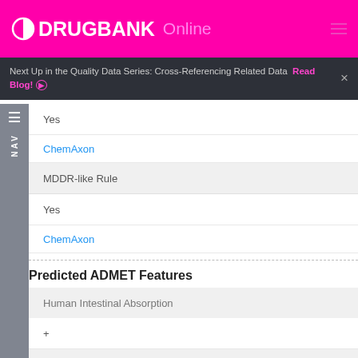DRUGBANK Online
Next Up in the Quality Data Series: Cross-Referencing Related Data  Read Blog!
Yes
ChemAxon
MDDR-like Rule
Yes
ChemAxon
Predicted ADMET Features
Human Intestinal Absorption
+
Blood Brain Barrier
+